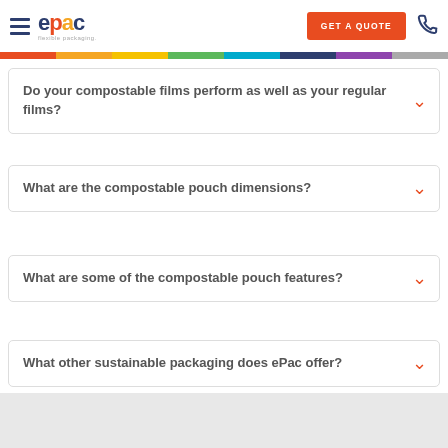ePac flexible packaging — GET A QUOTE
Do your compostable films perform as well as your regular films?
What are the compostable pouch dimensions?
What are some of the compostable pouch features?
What other sustainable packaging does ePac offer?